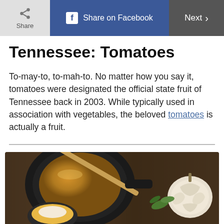Share | Share on Facebook | Next
Tennessee: Tomatoes
To-may-to, to-mah-to. No matter how you say it, tomatoes were designated the official state fruit of Tennessee back in 2003. While typically used in association with vegetables, the beloved tomatoes is actually a fruit.
[Figure (photo): Photo of a cooking scene with a cast iron skillet containing an orange/golden liquid, a wooden spoon or chopstick resting across the skillet, a small dish with white cream/cheese below, garlic bulb on the right, and green herbs or vegetables, all on a dark wooden surface.]